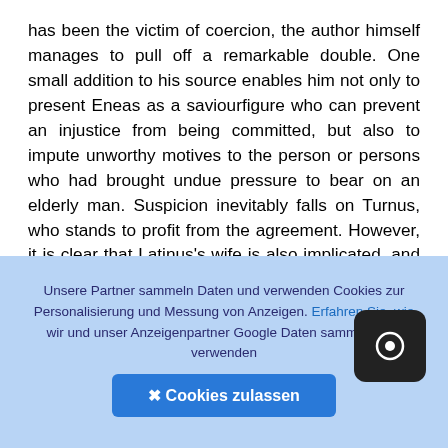has been the victim of coercion, the author himself manages to pull off a remarkable double. One small addition to his source enables him not only to present Eneas as a saviourfigure who can prevent an injustice from being committed, but also to impute unworthy motives to the person or persons who had brought undue pressure to bear on an elderly man. Suspicion inevitably falls on Turnus, who stands to profit from the agreement. However, it is clear that Latinus's wife is also implicated, and further rewritings of the figures of the c[...] gods provide an opportunity for the po[...] develop her role in ways that cast an increasingly negative light on Turnus. In the Aeneid, news of
Unsere Partner sammeln Daten und verwenden Cookies zur Personalisierung und Messung von Anzeigen. Erfahren Sie, wie wir und unser Anzeigenpartner Google Daten sammeln und verwenden